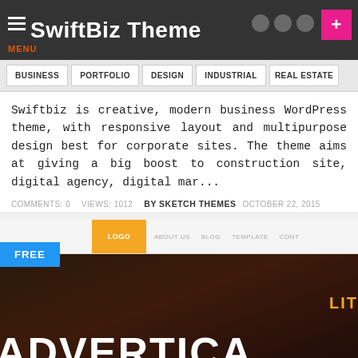SwiftBiz Theme
BUSINESS
PORTFOLIO
DESIGN
INDUSTRIAL
REAL ESTATE
Swiftbiz is creative, modern business WordPress theme, with responsive layout and multipurpose design best for corporate sites. The theme aims at giving a big boost to construction site, digital agency, digital mar...
COMMENTS: 0   VIEWS: 1012   BY SKETCH THEMES   OCTOBER 22, 2015
[Figure (screenshot): Screenshot of a WordPress theme preview page showing a theme with an orange logo block, navigation items (ABOUT US, BLOG, TEMPLATE, CONT...), and a dark hero section with 'ADVERTICA' in large white text and 'LIT' in orange, with a FREE badge in blue.]